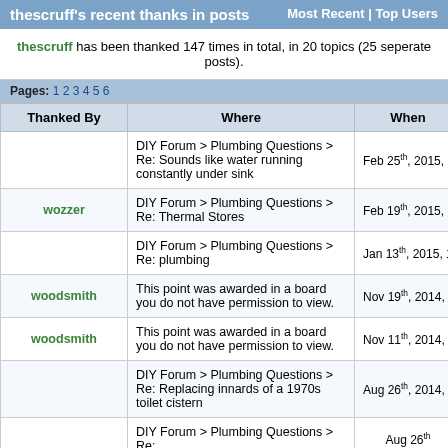thescruff's recent thanks in posts | Most Recent | Top Users
thescruff has been thanked 147 times in total, in 20 topics (25 seperate posts).
Pages: 1 2 3 4 5 6
| Thanked By | Where | When |
| --- | --- | --- |
|  | DIY Forum > Plumbing Questions > Re: Sounds like water running constantly under sink | Feb 25th, 2015, 9:34pm |
| wozzer | DIY Forum > Plumbing Questions > Re: Thermal Stores | Feb 19th, 2015, 3:17pm |
|  | DIY Forum > Plumbing Questions > Re: plumbing | Jan 13th, 2015, 11:18am |
| woodsmith | This point was awarded in a board you do not have permission to view. | Nov 19th, 2014, 1:45pm |
| woodsmith | This point was awarded in a board you do not have permission to view. | Nov 11th, 2014, 10:01pm |
|  | DIY Forum > Plumbing Questions > Re: Replacing innards of a 1970s toilet cistern | Aug 26th, 2014, 12:51pm |
|  | DIY Forum > Plumbing Questions > Re: | Aug 26th |